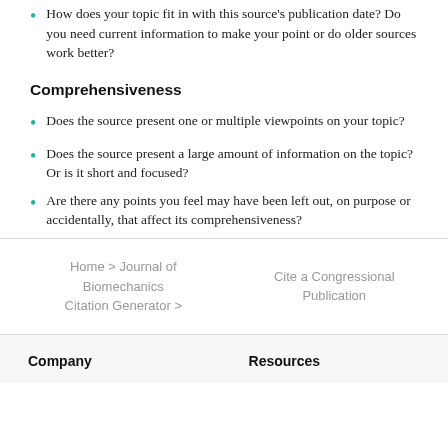How does your topic fit in with this source's publication date? Do you need current information to make your point or do older sources work better?
Comprehensiveness
Does the source present one or multiple viewpoints on your topic?
Does the source present a large amount of information on the topic? Or is it short and focused?
Are there any points you feel may have been left out, on purpose or accidentally, that affect its comprehensiveness?
Home > Journal of Biomechanics Citation Generator >
Cite a Congressional Publication
Company
Resources